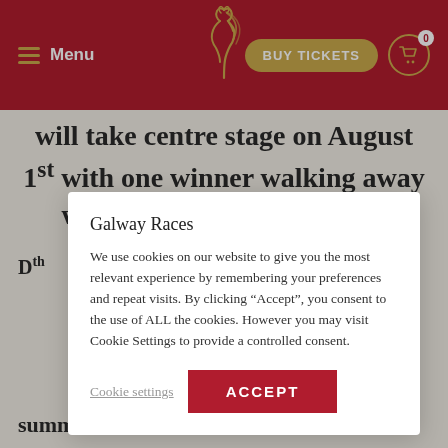Menu | BUY TICKETS | 0
will take centre stage on August 1st with one winner walking away with a holiday of a lifetime.
Galway Races
We use cookies on our website to give you the most relevant experience by remembering your preferences and repeat visits. By clicking “Accept”, you consent to the use of ALL the cookies. However you may visit Cookie Settings to provide a controlled consent.
Cookie settings
ACCEPT
summer festival